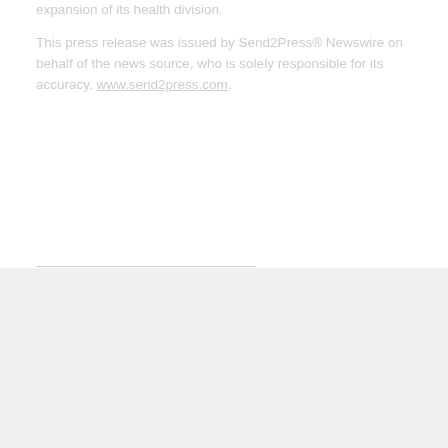expansion of its health division.
This press release was issued by Send2Press® Newswire on behalf of the news source, who is solely responsible for its accuracy. www.send2press.com.
THE DEPTHPR PHILOSOPHY
Our driving goal is to influence the way people think about and respond to our clients' businesses. Our passion is to produce